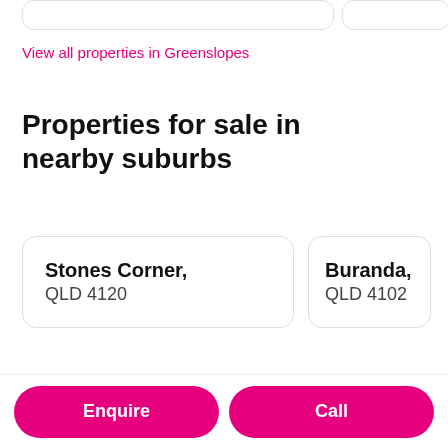View all properties in Greenslopes
Properties for sale in nearby suburbs
Stones Corner, QLD 4120
Buranda, QLD 4102
Enquire
Call